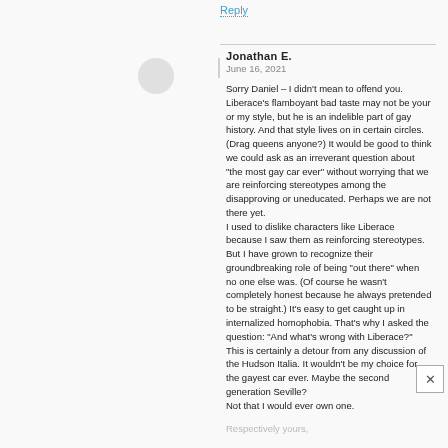Reply
Jonathan E.
June 16, 2021
Sorry Daniel – I didn't mean to offend you. Liberace's flamboyant bad taste may not be your or my style, but he is an indelible part of gay history. And that style lives on in certain circles. (Drag queens anyone?) It would be good to think we could ask as an irreverant question about "the most gay car ever" without worrying that we are reinforcing stereotypes among the disapproving or uneducated. Perhaps we are not there yet.
I used to dislike characters like Liberace because I saw them as reinforcing stereotypes. But I have grown to recognize their groundbreaking role of being "out there" when no one else was. (Of course he wasn't completely honest because he always pretended to be straight.) It's easy to get caught up in internalized homophobia. That's why I asked the question: "And what's wrong with Liberace?"
This is certainly a detour from any discussion of the Hudson Italia. It wouldn't be my choice for the gayest car ever. Maybe the second generation Seville?
Not that I would ever own one.
Respectively yours,